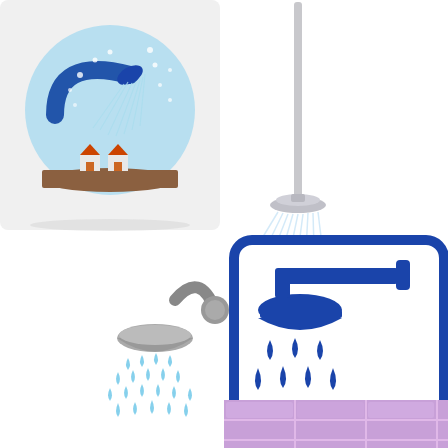[Figure (illustration): Four shower-related illustrations arranged in a 2x2 grid. Top-left: a circular icon with a blue arc shower head spraying water over small houses on brown ground against a light blue background. Top-right: a realistic white shower pole with a round showerhead spraying thin water streams downward on white background. Bottom-left: a cartoon silver shower head with blue water droplets falling. Bottom-right: a blue outlined square sign with a shower head icon and blue water droplets below it. Partially visible at bottom-right: purple/lavender tile pattern.]